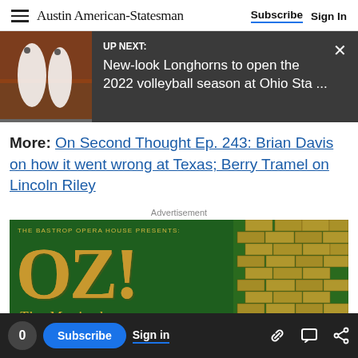Austin American-Statesman | Subscribe | Sign In
[Figure (screenshot): UP NEXT banner with volleyball photo: New-look Longhorns to open the 2022 volleyball season at Ohio Sta ...]
More:  On Second Thought Ep. 243: Brian Davis on how it went wrong at Texas; Berry Tramel on Lincoln Riley
Advertisement
[Figure (illustration): Advertisement for The Bastrop Opera House presenting OZ! The Musical. Directed by Lisa Holcolmb. Music & Lyrics by Bill Francoeur. Ndosa Al-Sarraj, Music Director.]
0 | Subscribe | Sign in | link icon | comment icon | share icon